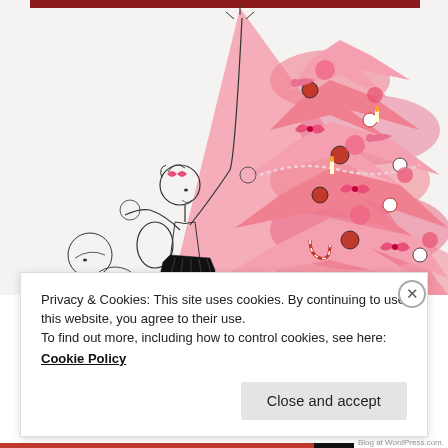[Figure (illustration): An artistic illustration showing a figure in a black tutu/skirt decorating a large pink Christmas tree filled with pink flowers, birds, ornaments, bows, and candy canes. The figure and surrounding elements are drawn in black ink line art style, with the tree rendered in vivid pink.]
Privacy & Cookies: This site uses cookies. By continuing to use this website, you agree to their use.
To find out more, including how to control cookies, see here: Cookie Policy
Close and accept